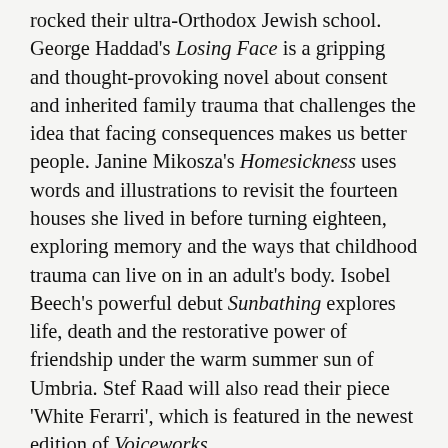rocked their ultra-Orthodox Jewish school. George Haddad's Losing Face is a gripping and thought-provoking novel about consent and inherited family trauma that challenges the idea that facing consequences makes us better people. Janine Mikosza's Homesickness uses words and illustrations to revisit the fourteen houses she lived in before turning eighteen, exploring memory and the ways that childhood trauma can live on in an adult's body. Isobel Beech's powerful debut Sunbathing explores life, death and the restorative power of friendship under the warm summer sun of Umbria. Stef Raad will also read their piece 'White Ferarri', which is featured in the newest edition of Voiceworks.

Join us at The Moat to enjoy a delicious drink and bite to eat, while sampling writing from tomorrow's best and brightest literary stars